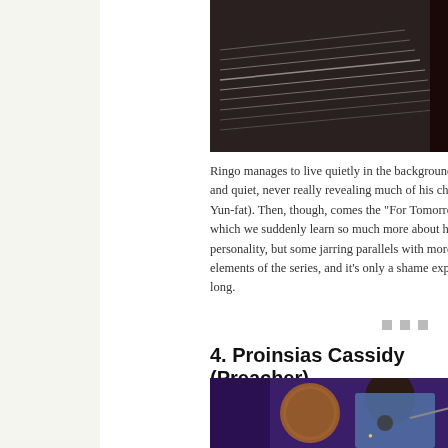[Figure (illustration): Comic book illustration cropped at top showing dark scene with diagonal lines suggesting motion, against red/dark background]
Ringo manages to live quietly in the background throughout, cold and quiet, never really revealing much of his character (like Chow Yun-fat). Then, though, comes the "For Tomorrow" story – in which we suddenly learn so much more about his much stronger personality, but some jarring parallels with more fascinating elements of the series, and it's only a shame explore it for very long.
4. Proinsias Cassidy (Preacher)
[Figure (illustration): Comic book illustration of Proinsias Cassidy from Preacher, a man laughing wildly against a purple night sky with a large golden moon behind him, wearing a denim jacket]